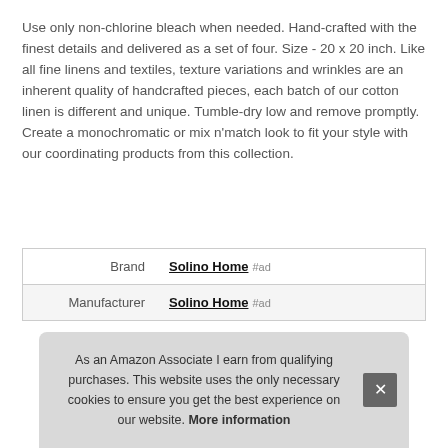Use only non-chlorine bleach when needed. Hand-crafted with the finest details and delivered as a set of four. Size - 20 x 20 inch. Like all fine linens and textiles, texture variations and wrinkles are an inherent quality of handcrafted pieces, each batch of our cotton linen is different and unique. Tumble-dry low and remove promptly. Create a monochromatic or mix n'match look to fit your style with our coordinating products from this collection.
| Brand | Solino Home #ad |
| Manufacturer | Solino Home #ad |
As an Amazon Associate I earn from qualifying purchases. This website uses the only necessary cookies to ensure you get the best experience on our website. More information